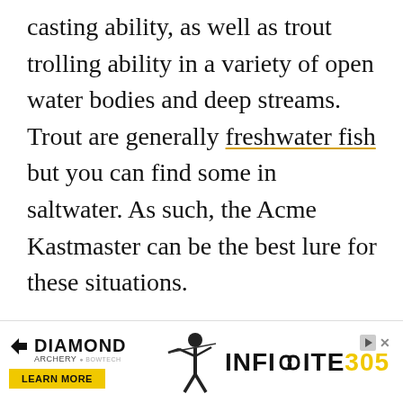casting ability, as well as trout trolling ability in a variety of open water bodies and deep streams. Trout are generally freshwater fish but you can find some in saltwater. As such, the Acme Kastmaster can be the best lure for these situations.

It is made of brass and doesn't corrode easily. The lure will, therefore, keep its appeal and shine, thereby attracting trout to your line. The best part of this lure is that it's available in a wide variety of shapes, sizes, and styles and can
[Figure (other): Diamond Archery advertisement banner with logo, 'LEARN MORE' yellow button, archer silhouette image, and 'INFINITE 305' text in black and yellow.]